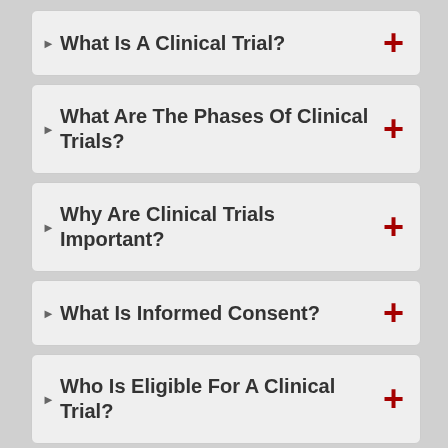What Is A Clinical Trial?
What Are The Phases Of Clinical Trials?
Why Are Clinical Trials Important?
What Is Informed Consent?
Who Is Eligible For A Clinical Trial?